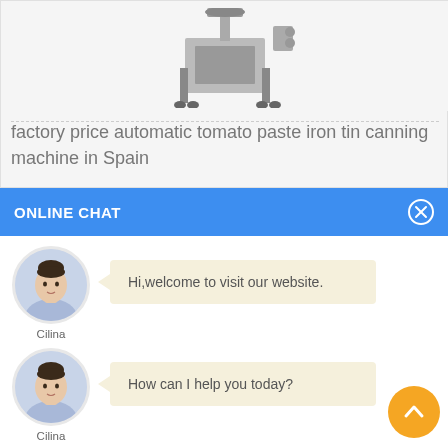[Figure (photo): Partial product photo of an automatic tin canning machine on grey background]
factory price automatic tomato paste iron tin canning machine in Spain
ONLINE CHAT
[Figure (photo): Avatar photo of female customer service agent named Cilina]
Cilina
Hi,welcome to visit our website.
[Figure (photo): Avatar photo of female customer service agent named Cilina]
Cilina
How can I help you today?